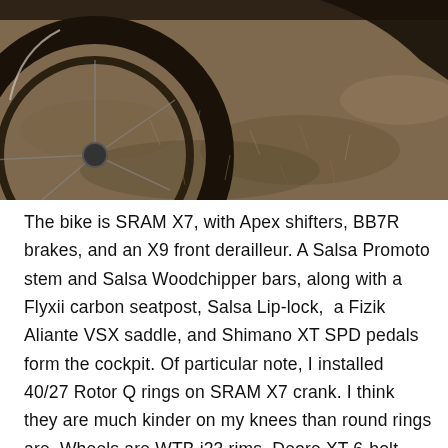[Figure (photo): Close-up photo of a mountain bike wheel lying on dry grass/dirt ground, showing the tire tread and rim detail from above.]
The bike is SRAM X7, with Apex shifters, BB7R brakes, and an X9 front derailleur. A Salsa Promoto stem and Salsa Woodchipper bars, along with a Flyxii carbon seatpost, Salsa Lip-lock,  a Fizik Aliante VSX saddle, and Shimano XT SPD pedals form the cockpit. Of particular note, I installed 40/27 Rotor Q rings on SRAM X7 crank. I think they are much kinder on my knees than round rings are. Wheels are WTB i23 rims, Deore XT 6-bolt disc hubs with 160mm rotors and WTB Nano TCS tires setup tubeless. It took two layers of Stan's tape, and 3 oz of sealant to get the setup to work, they've held air now for 3